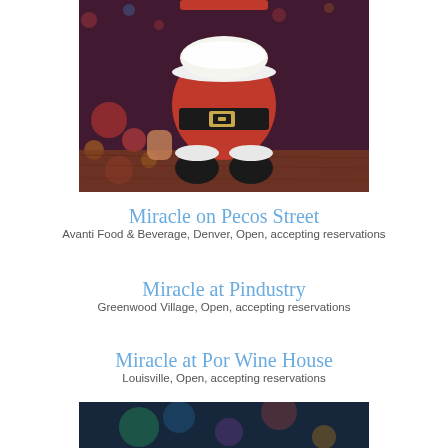[Figure (photo): A Santa Claus-shaped mug/cup filled with a white frothy drink, held by a hand, in a festively decorated bar setting with red and colorful Christmas lights in the background.]
Miracle on Pecos Street
Avanti Food & Beverage, Denver, Open, accepting reservations
Miracle at Pindustry
Greenwood Village, Open, accepting reservations
Miracle at Por Wine House
Louisville, Open, accepting reservations
[Figure (photo): Partial view of another festive bar scene, cropped at the bottom of the page.]